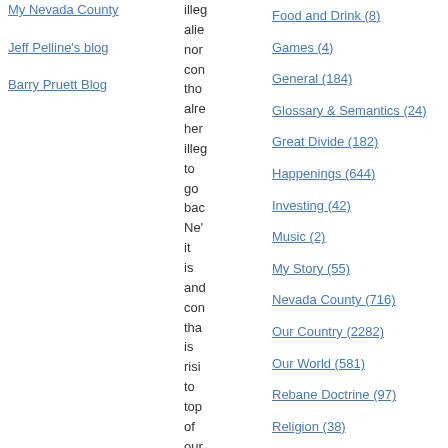My Nevada County
Jeff Pelline's blog
Barry Pruett Blog
illeg alien nor con tho alre her illeg to go bac Ne' it is and con tha is risi to top of our
Food and Drink (8)
Games (4)
General (184)
Glossary & Semantics (24)
Great Divide (182)
Happenings (644)
Investing (42)
Music (2)
My Story (55)
Nevada County (716)
Our Country (2282)
Our World (581)
Rebane Doctrine (97)
Religion (38)
Science (31)
Science Snippets (157)
Singularity Signposts (131)
Sports (2)